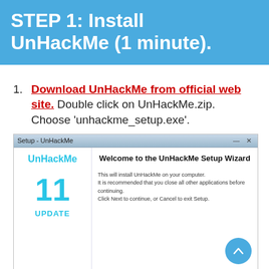STEP 1: Install UnHackMe (1 minute).
Download UnHackMe from official web site. Double click on UnHackMe.zip. Choose 'unhackme_setup.exe'.
[Figure (screenshot): Screenshot of the UnHackMe Setup Wizard dialog showing the UnHackMe logo with number 11 and UPDATE text on the left, and 'Welcome to the UnHackMe Setup Wizard' title with installation instructions on the right. A blue scroll-to-top button is in the bottom right corner.]